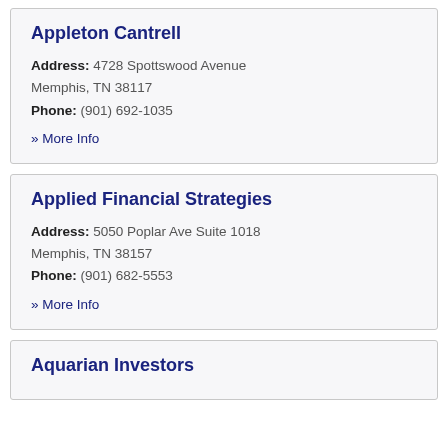Appleton Cantrell
Address: 4728 Spottswood Avenue Memphis, TN 38117
Phone: (901) 692-1035
» More Info
Applied Financial Strategies
Address: 5050 Poplar Ave Suite 1018 Memphis, TN 38157
Phone: (901) 682-5553
» More Info
Aquarian Investors